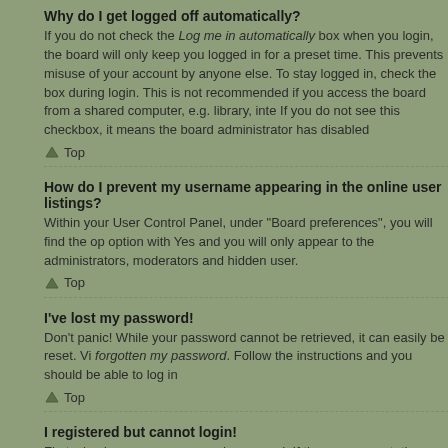Why do I get logged off automatically?
If you do not check the Log me in automatically box when you login, the board will only keep you logged in for a preset time. This prevents misuse of your account by anyone else. To stay logged in, check the box during login. This is not recommended if you access the board from a shared computer, e.g. library, internet cafe, university computer lab, etc. If you do not see this checkbox, it means the board administrator has disabled this feature.
Top
How do I prevent my username appearing in the online user listings?
Within your User Control Panel, under "Board preferences", you will find the option Hide your online status. Enable this option with Yes and you will only appear to the administrators, moderators and yourself. You will be counted as a hidden user.
Top
I've lost my password!
Don't panic! While your password cannot be retrieved, it can easily be reset. Visit the login page and click I've forgotten my password. Follow the instructions and you should be able to log in again shortly.
Top
I registered but cannot login!
First, check your username and password. If they are correct, then one of two things may have happened. If COPPA support is enabled and you specified being under 13 years old during registration, you will have to follow the instructions you received. Some boards will also require new registrations to be activated, either by yourself or by an administrator before you can logon; this information was present during registration. If you were sent an e-mail, follow the instructions. If you did not receive an e-mail, you may have provided an incorrect e-mail address or the e-mail may have been picked up by a spam filer. If you are sure the e-mail address you provided is correct, try contacting an administrator.